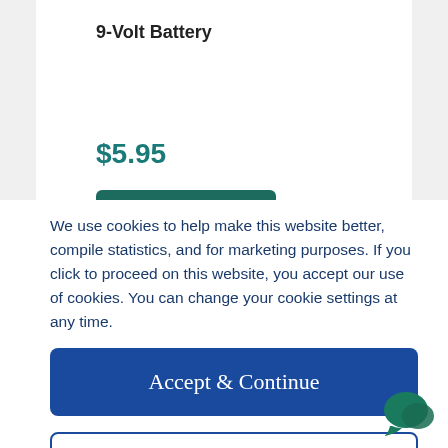9-Volt Battery
$5.95
We use cookies to help make this website better, compile statistics, and for marketing purposes. If you click to proceed on this website, you accept our use of cookies. You can change your cookie settings at any time.
Accept & Continue
Cookie Settings